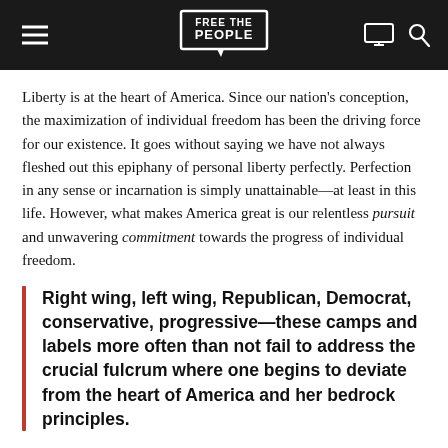[Figure (logo): Free the People website header with hamburger menu, logo, monitor icon, and search icon on black background]
Liberty is at the heart of America. Since our nation's conception, the maximization of individual freedom has been the driving force for our existence. It goes without saying we have not always fleshed out this epiphany of personal liberty perfectly. Perfection in any sense or incarnation is simply unattainable—at least in this life. However, what makes America great is our relentless pursuit and unwavering commitment towards the progress of individual freedom.
Right wing, left wing, Republican, Democrat, conservative, progressive—these camps and labels more often than not fail to address the crucial fulcrum where one begins to deviate from the heart of America and her bedrock principles.
Despite the label one is given or however one identifies politically, the most important metric we must evaluate of ourselves is the